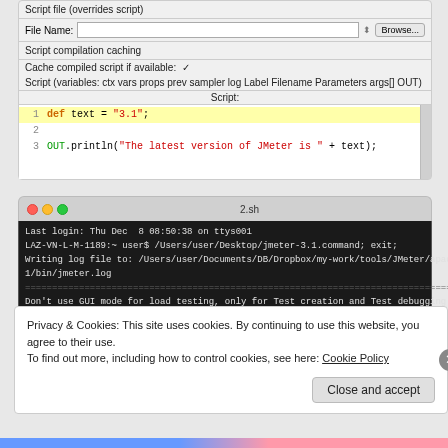[Figure (screenshot): JMeter script configuration panel showing 'Script file (overrides script)', 'File Name' input, 'Browse...' button, 'Script compilation caching' with 'Cache compiled script if available' checkbox, and a script editor with code: def text = "3.1"; OUT.println("The latest version of JMeter is " + text);]
[Figure (screenshot): macOS terminal window titled '2.sh' showing JMeter launch output including login info, log file path, warnings about GUI mode, OUT command messages, and highlighted box showing 'The latest version of JMeter is 3.1']
Privacy & Cookies: This site uses cookies. By continuing to use this website, you agree to their use.
To find out more, including how to control cookies, see here: Cookie Policy
Close and accept